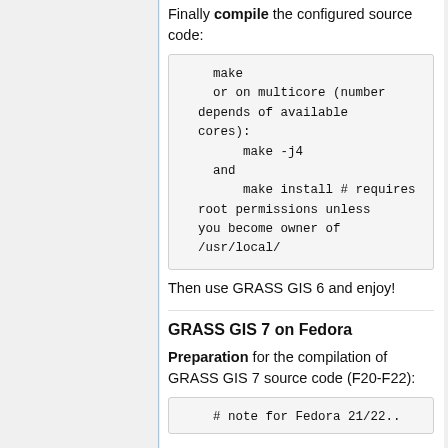Finally compile the configured source code:
make
    or on multicore (number depends of available cores):
        make -j4
    and
        make install # requires root permissions unless you become owner of /usr/local/
Then use GRASS GIS 6 and enjoy!
GRASS GIS 7 on Fedora
Preparation for the compilation of GRASS GIS 7 source code (F20-F22):
# note for Fedora 21/22...